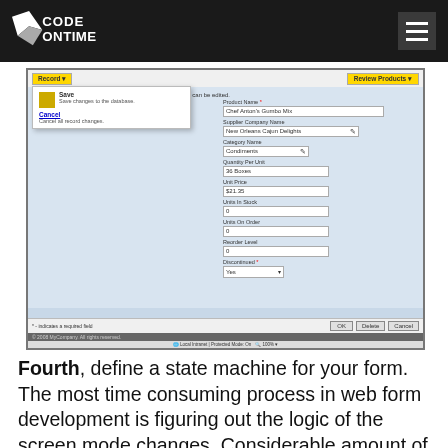Code On Time
[Figure (screenshot): A web application form screenshot showing a 'Review Products' view with fields for Product Name (Chef Anton's Gumbo Mix), Supplier Company Name (New Orleans Cajun Delights), Category Name (Condiments), Quantity Per Unit (36 Boxes), Unit Price ($21.35), Units In Stock (0), Units On Order (0), Reorder Level (0), Discontinued (Yes). A dropdown menu is open from the Record button showing Save and Cancel options. Footer shows OK, Delete, Cancel buttons and copyright notice.]
Fourth, define a state machine for your form. The most time consuming process in web form development is figuring out the logic of the screen mode changes. Considerable amount of code may